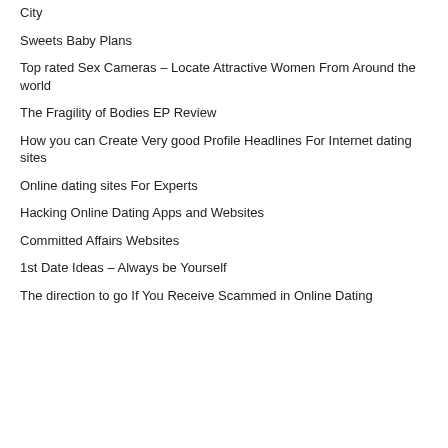City
Sweets Baby Plans
Top rated Sex Cameras – Locate Attractive Women From Around the world
The Fragility of Bodies EP Review
How you can Create Very good Profile Headlines For Internet dating sites
Online dating sites For Experts
Hacking Online Dating Apps and Websites
Committed Affairs Websites
1st Date Ideas – Always be Yourself
The direction to go If You Receive Scammed in Online Dating